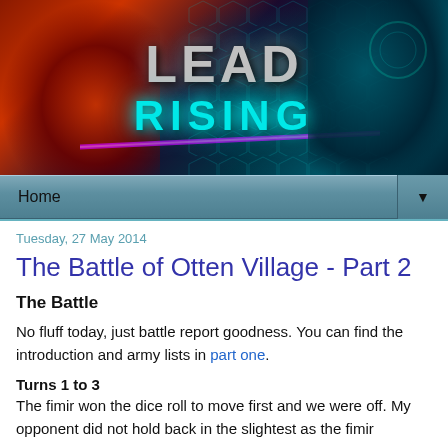[Figure (illustration): Lead Rising blog banner with fantasy/sci-fi characters. Left side shows a dark creature with chains against red/orange background. Center shows 'LEAD RISING' text with LEAD in grey metallic and RISING in glowing cyan. Right side shows a female character with pink hair and glowing green eyes against dark teal background with hexagon pattern.]
Home ▼
Tuesday, 27 May 2014
The Battle of Otten Village - Part 2
The Battle
No fluff today, just battle report goodness. You can find the introduction and army lists in part one.
Turns 1 to 3
The fimir won the dice roll to move first and we were off. My opponent did not hold back in the slightest as the fimir